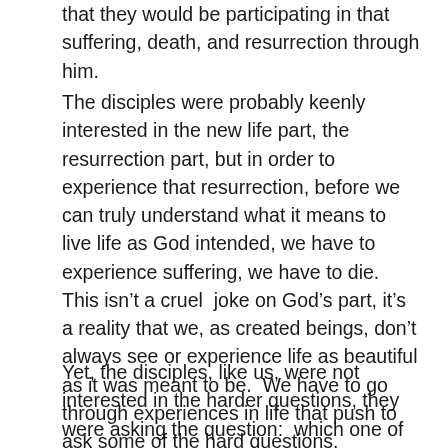that they would be participating in that suffering, death, and resurrection through him.
The disciples were probably keenly interested in the new life part, the resurrection part, but in order to experience that resurrection, before we can truly understand what it means to live life as God intended, we have to experience suffering, we have to die.  This isn't a cruel  joke on God's part, it's a reality that we, as created beings, don't always see or experience life as beautiful as it was meant to be.  We have to go through experiences in life that push to ask some of the hard questions.
Yet, the disciples, like us, were not interested in the harder questions, they were asking the question:  which one of us is greater?  What is our image to God?  Where